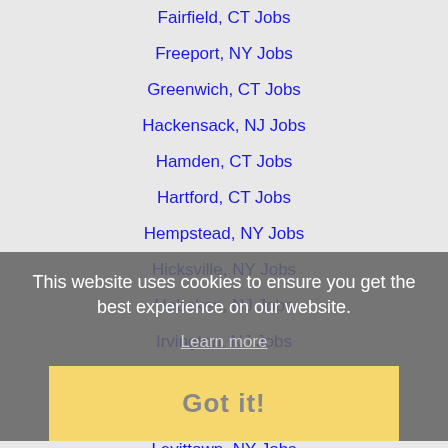Fairfield, CT Jobs
Freeport, NY Jobs
Greenwich, CT Jobs
Hackensack, NJ Jobs
Hamden, CT Jobs
Hartford, CT Jobs
Hempstead, NY Jobs
Hicksville, NY Jobs
Hoboken, NJ Jobs
Irvington, NJ Jobs
Jersey City, NJ Jobs
Lakewood, NJ Jobs
Levittown, NY Jobs
Meriden, CT Jobs
Middletown, CT Jobs
Milford, CT Jobs
Mount Vernon, NY Jobs
New Britain, CT Jobs
This website uses cookies to ensure you get the best experience on our website.
Learn more
Got it!